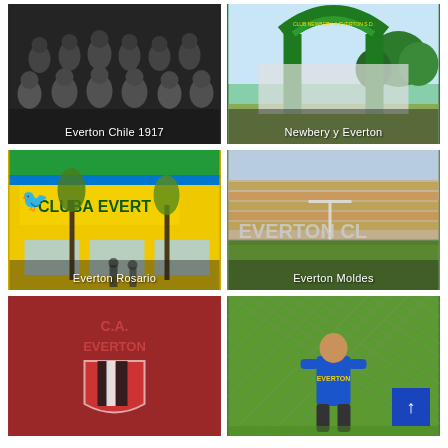[Figure (photo): Black and white historical team photo, Everton Chile 1917. Group of men in sports attire posed in rows.]
Everton Chile 1917
[Figure (photo): Color photo of a green arched entrance gate with 'Club Newbery & Everton' text, trees in background.]
Newbery y Everton
[Figure (photo): Color photo of a yellow building facade with 'Club A. Everton' sign, people standing outside.]
Everton Rosario
[Figure (photo): Color photo of a stadium with 'Everton CL' text visible on the stands, looking from the field.]
Everton Moldes
[Figure (photo): Photo of a red wall with 'C.A. Everton' text and a painted shield/crest with vertical stripes.]
[Figure (photo): Photo of a child in a blue Everton jersey viewed from behind, looking through a chain-link fence at a green football pitch.]